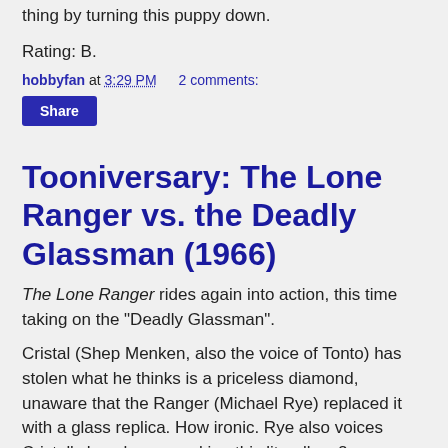thing by turning this puppy down.
Rating: B.
hobbyfan at 3:29 PM    2 comments:
Share
Tooniversary: The Lone Ranger vs. the Deadly Glassman (1966)
The Lone Ranger rides again into action, this time taking on the "Deadly Glassman".
Cristal (Shep Menken, also the voice of Tonto) has stolen what he thinks is a priceless diamond, unaware that the Ranger (Michael Rye) replaced it with a glass replica. How ironic. Rye also voices Cristal's henchman, making this literally a 2-man show.
[Figure (screenshot): Partial screenshot of a Cartoon Network / Lone Ranger cartoon title card, showing the Cartoon network logo on the left and 'Lone Ranger Cart' text on dark background]